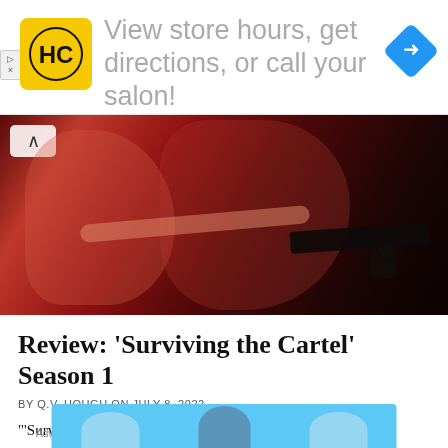[Figure (other): Advertisement banner with HC logo (yellow square with black HC letters), text 'View store hours, get directions, or call your salon!' in gray, and a blue diamond navigation icon on the right.]
[Figure (photo): Dark red-toned photograph showing two figures, one holding a gun extended outward, with dramatic red lighting.]
Review: ‘Surviving the Cartel’ Season 1
BY Q.V. HOUGH ON JULY 8, 2022
“‘Surviving the Cartel’ season 1 looks like a mostly-assembled jigsaw puzzle. Creator Ely Bams has everything in place and yet various pieces clearly don’t connect.”
Advertisements
[Figure (illustration): Bottom advertisement with light blue background showing silhouette figures.]